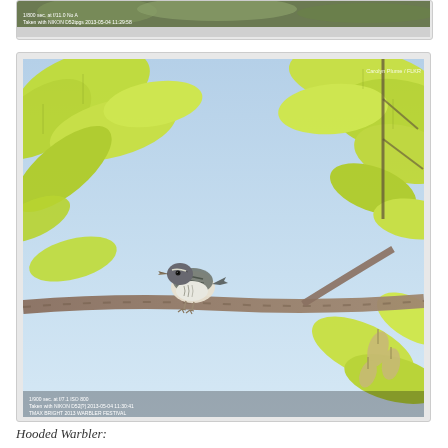[Figure (photo): Partial top photo strip showing green foliage scene with photo metadata text overlaid at bottom: '1/800 sec. at f/11.0 No' and 'Taken with NIKON D52[?] 2013-05-04 11:29:58']
[Figure (photo): Photograph of a small bird (Hooded Warbler) perched on a tree branch among bright yellow-green spring leaves against a light blue sky. The bird faces left with its beak slightly open. Seed pods hang to the right. Watermark in top right reads 'Carolyn Plume / FLKR'. Bottom overlay shows photo metadata including exposure and camera info.]
Hooded Warbler: An irresistible warbler that showed particularly well: